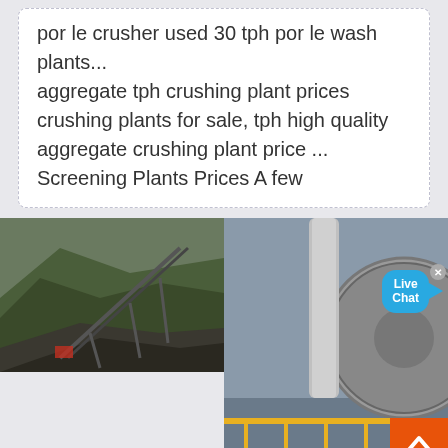por le crusher used 30 tph por le wash plants... aggregate tph crushing plant prices crushing plants for sale, tph high quality aggregate crushing plant price ... Screening Plants Prices A few
[Figure (photo): Four-panel image collage: top-left shows a conveyor belt on a mountain/quarry slope with aggregate piles; top-right and bottom-right show a large industrial ball mill inside a factory with yellow railings and blue equipment; bottom-left shows an open-pit mining scene with large excavation machinery on reddish earth. A 'Live Chat' bubble overlay is visible in the top-right area. A back-to-top orange arrow button is at the bottom-right.]
Leave Message
Chat Online